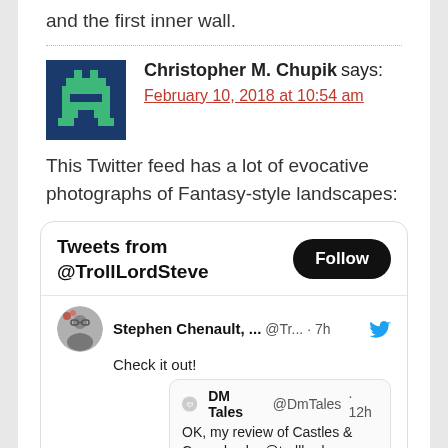and the first inner wall.
Christopher M. Chupik says:
February 10, 2018 at 10:54 am
This Twitter feed has a lot of evocative photographs of Fantasy-style landscapes:
[Figure (screenshot): Embedded Twitter widget showing 'Tweets from @TrollLordSteve' with a Follow button. Below is a tweet from Stephen Chenault saying 'Check it out!' with a retweet from DM Tales @DmTales · 12h: 'OK, my review of Castles & Crusades by @trolllordgames is up!']